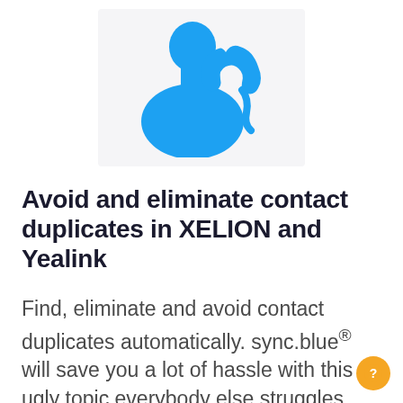[Figure (illustration): Blue silhouette icon of a person with a telephone handset, on a light gray rectangular background]
Avoid and eliminate contact duplicates in XELION and Yealink
Find, eliminate and avoid contact duplicates automatically. sync.blue® will save you a lot of hassle with this ugly topic everybody else struggles with - no matter if in XELION or Yealink